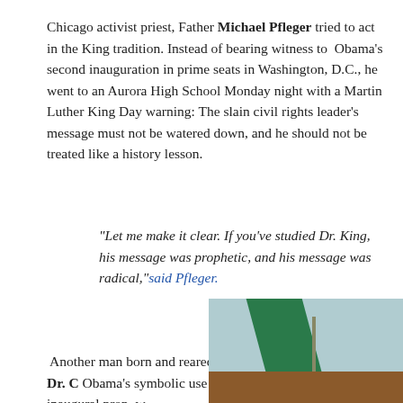Chicago activist priest, Father Michael Pfleger tried to act in the King tradition. Instead of bearing witness to Obama's second inauguration in prime seats in Washington, D.C., he went to an Aurora High School Monday night with a Martin Luther King Day warning: The slain civil rights leader's message must not be watered down, and he should not be treated like a history lesson.
“Let me make it clear. If you’ve studied Dr. King, his message was prophetic, and his message was radical,” said Pfleger.
Another man born and reared in the same tradition as King, Dr. C... Obama's symbolic use of Dr. King's bible as his inaugural prop, w... rights."
[Figure (photo): Partial image showing a green diagonal shape and a stick/rod against a blue-grey sky background, with a brown base at the bottom.]